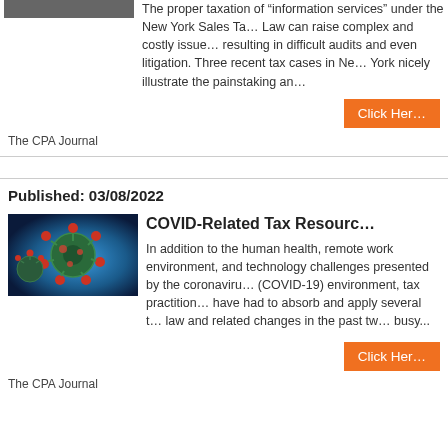[Figure (photo): Partial/cropped image at the top of the page (dark, partially visible)]
The proper taxation of “information services” under the New York Sales Tax Law can raise complex and costly issues resulting in difficult audits and even litigation. Three recent tax cases in New York nicely illustrate the painstaking an…
Click Her…
The CPA Journal
Published: 03/08/2022
[Figure (photo): Microscopic image of coronavirus (COVID-19) particles on a blue background]
COVID-Related Tax Resourc…
In addition to the human health, remote work environment, and technology challenges presented by the coronavirus (COVID-19) environment, tax practitioners have had to absorb and apply several tax law and related changes in the past two… busy...
Click Her…
The CPA Journal